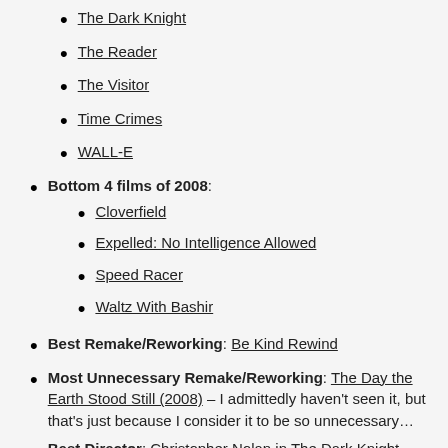The Dark Knight
The Reader
The Visitor
Time Crimes
WALL-E
Bottom 4 films of 2008:
Cloverfield
Expelled: No Intelligence Allowed
Speed Racer
Waltz With Bashir
Best Remake/Reworking: Be Kind Rewind
Most Unnecessary Remake/Reworking: The Day the Earth Stood Still (2008) – I admittedly haven't seen it, but that's just because I consider it to be so unnecessary…
Best Director: Christopher Nolan in The Dark Knight
Best Actress: Kate Winslet in The Reader
Best Actor: Richard Jenkins in The Visitor
Best Supporting Actress: Amy Adams in Doubt
Best Supporting Actor: Heath Ledger in The Dark Knight